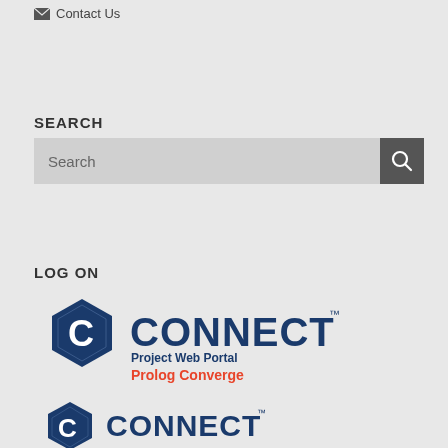Contact Us
SEARCH
Search
LOG ON
[Figure (logo): CONNECT Project Web Portal Prolog Converge logo with hexagonal C icon in dark blue]
[Figure (logo): CONNECT Project Web Portal logo with hexagonal C icon in dark blue (partial, second instance)]